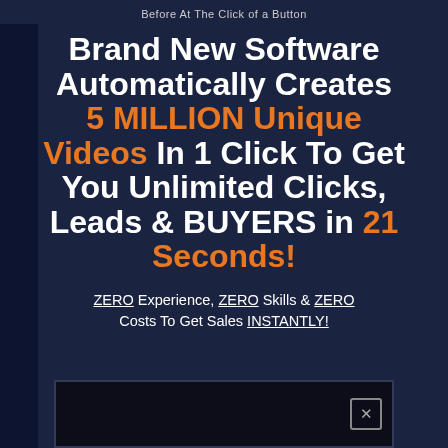Before At The Click of a Button
Brand New Software Automatically Creates 5 MILLION Unique Videos In 1 Click To Get You Unlimited Clicks, Leads & BUYERS in 21 Seconds!
ZERO Experience, ZERO Skills & ZERO Costs To Get Sales INSTANTLY!
[Figure (screenshot): Dark video player box with close button in bottom right corner]